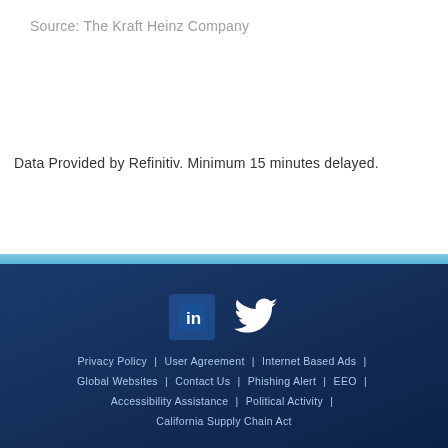Source: The Kraft Heinz Company
Data Provided by Refinitiv. Minimum 15 minutes delayed.
Privacy Policy | User Agreement | Internet Based Ads | Global Websites | Contact Us | Phishing Alert | EEO | Accessibility Assistance | Political Activity | California Supply Chain Act